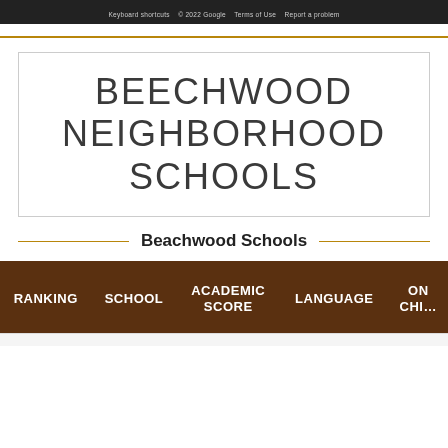Keyboard shortcuts   © 2022 Google   Terms of Use   Report a problem
BEECHWOOD NEIGHBORHOOD SCHOOLS
Beachwood Schools
| RANKING | SCHOOL | ACADEMIC SCORE | LANGUAGE | ON... CHI... |
| --- | --- | --- | --- | --- |